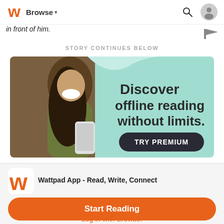Browse
in front of him.
STORY CONTINUES BELOW
[Figure (infographic): Advertisement banner for Wattpad Premium showing a smiling woman in a hoodie holding a phone, with teal background and text: Discover offline reading without limits. TRY PREMIUM button.]
[Figure (logo): Wattpad W logo in orange]
Wattpad App - Read, Write, Connect
Start Reading
Log in with Browser